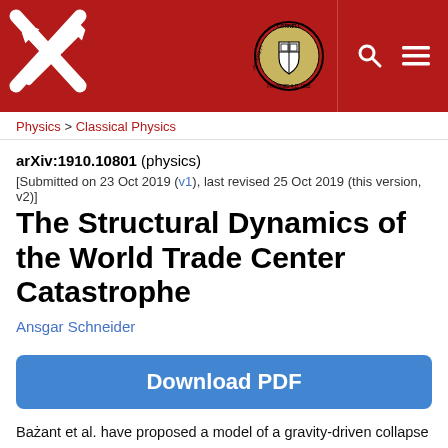[Figure (logo): arXiv header with red background, arXiv logo on left, Cornell University seal in center-right, search and menu icons on right]
Physics > Classical Physics
arXiv:1910.10801 (physics)
[Submitted on 23 Oct 2019 (v1), last revised 25 Oct 2019 (this version, v2)]
The Structural Dynamics of the World Trade Center Catastrophe
Ansgar Schneider
Download PDF
Bażant et al. have proposed a model of a gravity-driven collapse of a tall building which collapses in a progressive-floor collapse after the failure of a single storey. The model allows the re-computation of the structural resistance of the building once the downward movement of the building has been quantified. We give a physically more sound version of the collapse model, and determine the downward movement of the North Tower of the World Trade Center. Thereby we